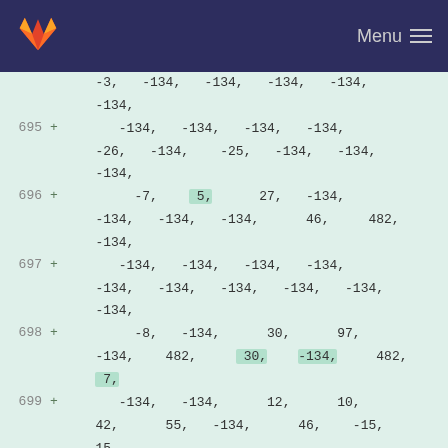GitLab Menu
-3, -134, -134, -134, -134, -134,
695 + -134, -134, -134, -134, -26, -134, -25, -134, -134, -134,
696 + -7, 5, 27, -134, -134, -134, -134, 46, 482, -134,
697 + -134, -134, -134, -134, -134, -134, -134, -134, -134, -134,
698 + -8, -134, 30, 97, -134, 482, 30, -134, 482, 7,
699 + -134, -134, 12, 10, 42, 55, -134, 46, -15, 15,
700 + -134, -134, 482, -134, 25, 26, 47, 145, -134, -134,